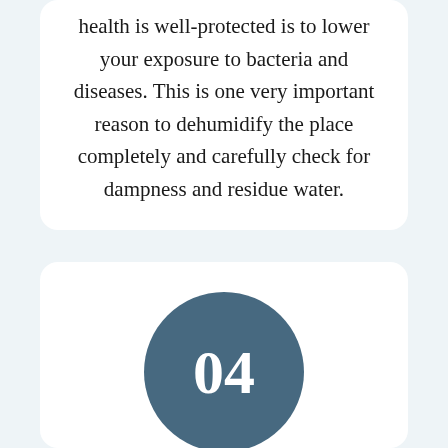health is well protected is to lower your exposure to bacteria and diseases. This is one very important reason to dehumidify the place completely and carefully check for dampness and residue water.
[Figure (infographic): A dark teal circular badge with the number 04 in white bold text, representing step 04.]
Post-Check